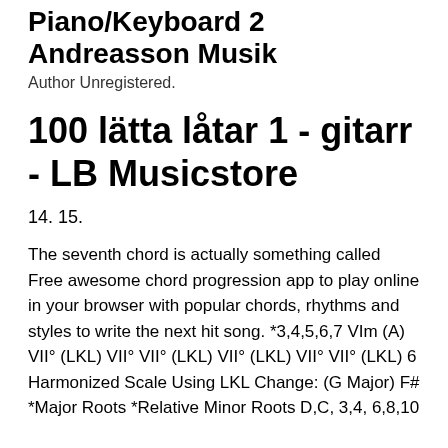Piano/Keyboard 2 Andreasson Musik
Author Unregistered.
100 lätta låtar 1 - gitarr - LB Musicstore
14. 15.
The seventh chord is actually something called Free awesome chord progression app to play online in your browser with popular chords, rhythms and styles to write the next hit song. *3,4,5,6,7 VIm (A) VII° (LKL) VII° VII° (LKL) VII° (LKL) VII° VII° (LKL) 6 Harmonized Scale Using LKL Change: (G Major) F# *Major Roots *Relative Minor Roots D,C, 3,4, 6,8,10